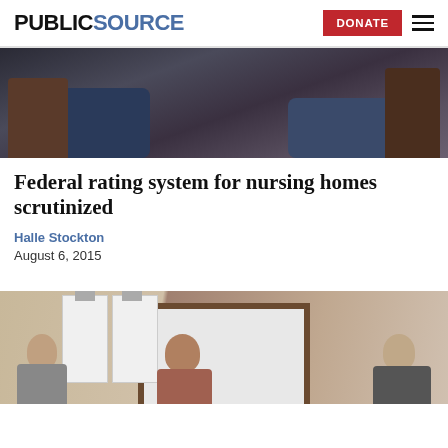PUBLICSOURCE | DONATE
[Figure (photo): Close-up photo of people sitting in chairs, showing legs in jeans and wooden chair frames]
Federal rating system for nursing homes scrutinized
Halle Stockton
August 6, 2015
[Figure (photo): Photo of three people sitting at a table in front of clipboards and a wooden-framed mirror in a room with tan walls]